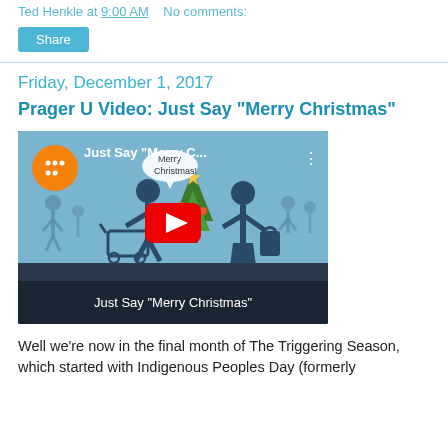Ted Henkle at 9:00 AM   No comments:
Share
Friday, December 1, 2017
Prager U Video: Just Say "Merry Christmas"
[Figure (screenshot): YouTube video thumbnail for 'Just Say Merry Christmas' showing stick figures with shopping cart and Christmas tree, with red play button overlay and bottom title bar reading 'Just Say "Merry Christmas"']
Well we're now in the final month of The Triggering Season, which started with Indigenous Peoples Day (formerly